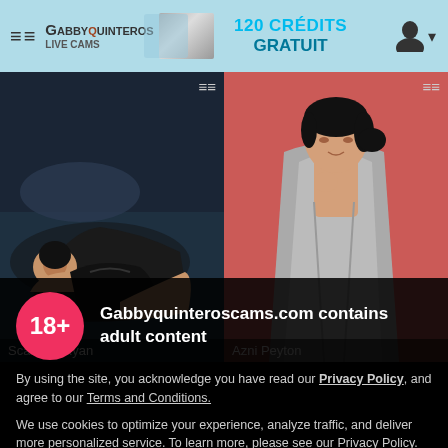≡≡  GabbyQuinteros Live Cams  |  120 CRÉDITS GRATUIT
[Figure (photo): Two thumbnail photos side by side: left shows a woman in black lingerie on a bed (Scarlette Ryan), right shows an Asian woman in a grey robe against a pink background (Azni Peyton)]
Scarlette Ryan | Azni Peyton
18+  Gabbyquinteroscams.com contains adult content
By using the site, you acknowledge you have read our Privacy Policy, and agree to our Terms and Conditions.
We use cookies to optimize your experience, analyze traffic, and deliver more personalized service. To learn more, please see our Privacy Policy.
I AGREE